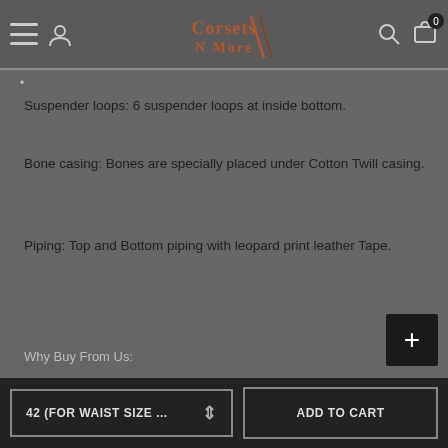Corsets N More - Navigation header with hamburger menu, login icon, logo, search icon, and cart
Suspender loops: 6 suspender loops at inside bottom.
Bone casing: Bones are specially placed under Cotton Twill casing.
Piping: Top and Bottom piping with leopard print leather Tape.
Why Buy From Us:
42 (FOR WAIST SIZE ...  ADD TO CART